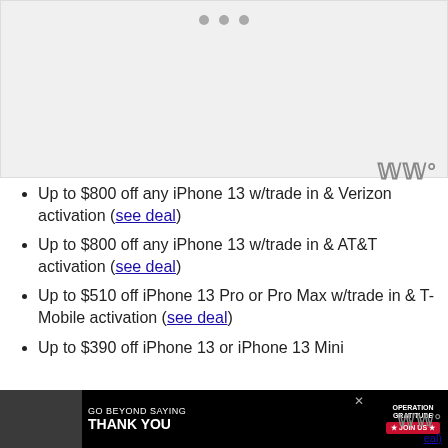[Figure (other): Image placeholder with carousel dots indicator at top and watermark logo at bottom right]
Up to $800 off any iPhone 13 w/trade in & Verizon activation (see deal)
Up to $800 off any iPhone 13 w/trade in & AT&T activation (see deal)
Up to $510 off iPhone 13 Pro or Pro Max w/trade in & T-Mobile activation (see deal)
Up to $390 off iPhone 13 or iPhone 13 Mini (see deal)
[Figure (photo): Advertisement banner: GO BEYOND SAYING THANK YOU — Operation Gratitude JOIN US]